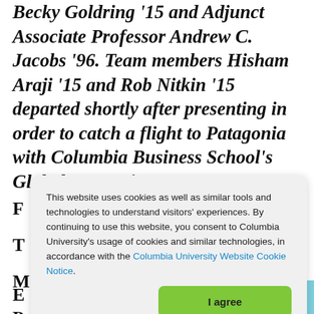Becky Goldring '15 and Adjunct Associate Professor Andrew C. Jacobs '96. Team members Hisham Araji '15 and Rob Nitkin '15 departed shortly after presenting in order to catch a flight to Patagonia with Columbia Business School's Global Immersion Program.
This website uses cookies as well as similar tools and technologies to understand visitors' experiences. By continuing to use this website, you consent to Columbia University's usage of cookies and similar technologies, in accordance with the Columbia University Website Cookie Notice.